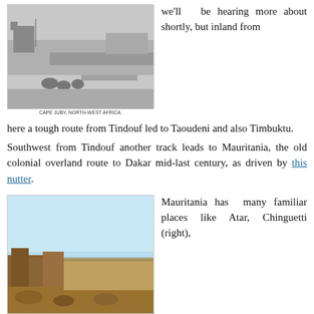[Figure (photo): Black and white historical photograph of a coastal or desert settlement, showing flat terrain, water/harbor, buildings, and camels. Caption reads: CAPE JUBY, NORTH-WEST AFRICA.]
we'll be hearing more about shortly, but inland from here a tough route from Tindouf led to Taoudeni and also Timbuktu.
Southwest from Tindouf another track leads to Mauritania, the old colonial overland route to Dakar mid-last century, as driven by this nutter.
[Figure (photo): Color photograph of ancient ruins in a desert landscape, likely Chinguetti in Mauritania. Rocky ruins visible in foreground with vast desert in background.]
Mauritania has many familiar places like Atar, Chinguetti (right),